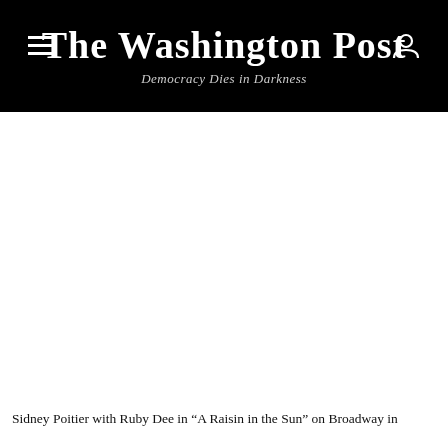The Washington Post
Democracy Dies in Darkness
[Figure (photo): Large white/blank image area below the Washington Post header, appears to be a photo that did not load or is mostly white space.]
Sidney Poitier with Ruby Dee in “A Raisin in the Sun” on Broadway in